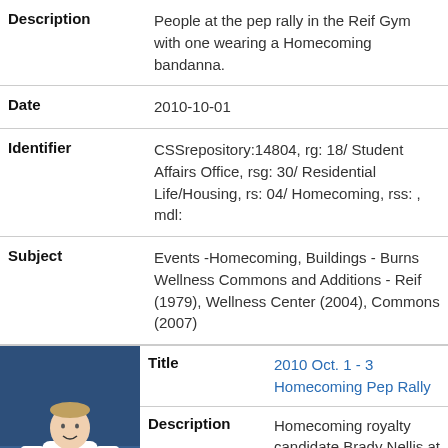| Field | Value |
| --- | --- |
| Description | People at the pep rally in the Reif Gym with one wearing a Homecoming bandanna. |
| Date | 2010-10-01 |
| Identifier | CSSrepository:14804, rg: 18/ Student Affairs Office, rsg: 30/ Residential Life/Housing, rs: 04/ Homecoming, rss: , mdl: |
| Subject | Events -Homecoming, Buildings - Burns Wellness Commons and Additions - Reif (1979), Wellness Center (2004), Commons (2007) |
[Figure (photo): Thumbnail photo of a person wearing a white shirt at the pep rally in a gym with blue background]
| Field | Value |
| --- | --- |
| Title | 2010 Oct. 1 - 3 Homecoming Pep Rally |
| Description | Homecoming royalty candidate Brady Nellis at the pep rally in the |